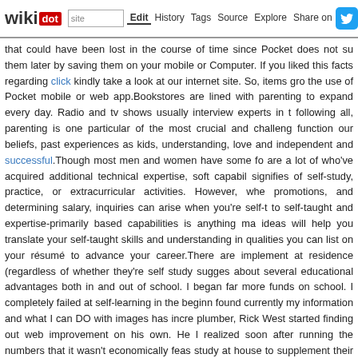wikidot | site | Edit | History | Tags | Source | Explore | Share on [Twitter]
that could have been lost in the course of time since Pocket does not su them later by saving them on your mobile or Computer. If you liked this facts regarding click kindly take a look at our internet site. So, items gro the use of Pocket mobile or web app.Bookstores are lined with parenting to expand every day. Radio and tv shows usually interview experts in t following all, parenting is one particular of the most crucial and challeng function our beliefs, past experiences as kids, understanding, love and independent and successful.Though most men and women have some fo are a lot of who've acquired additional technical expertise, soft capabil signifies of self-study, practice, or extracurricular activities. However, whe promotions, and determining salary, inquiries can arise when you're self-t to self-taught and expertise-primarily based capabilities is anything ma ideas will help you translate your self-taught skills and understanding in qualities you can list on your résumé to advance your career.There are implement at residence (regardless of whether they're self study sugges about several educational advantages both in and out of school. I began far more funds on school. I completely failed at self-learning in the beginn found currently my information and what I can DO with images has incre plumber, Rick West started finding out web improvement on his own. He l realized soon after running the numbers that it wasn't economically feas study at house to supplement their class-based finding out. However, se new ability or discover an entirely new notion - like a language or an in from self study are endless and are entirely determined by yours and commence my own weblog about studying foreign languages. That was writing, and for young inexperienced writer there is no greater possibilit what I've began with) fake it till you make it. I wrote in foreign languag enjoyed that so a lot. At initial I was carrying out it for graphomaniac in m self-education, but the additional it went the a lot more readers I got, an